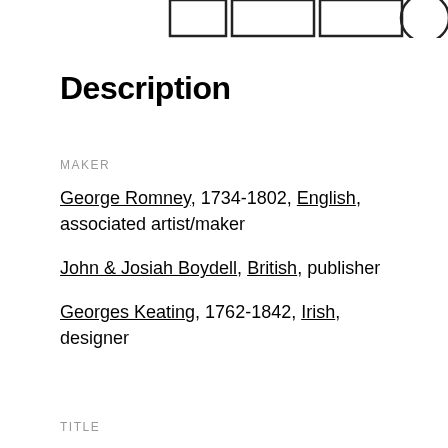[Figure (screenshot): Partial navigation/header icons visible at top of page]
Description
MAKER
George Romney, 1734-1802, English, associated artist/maker
John & Josiah Boydell, British, publisher
Georges Keating, 1762-1842, Irish, designer
TITLE